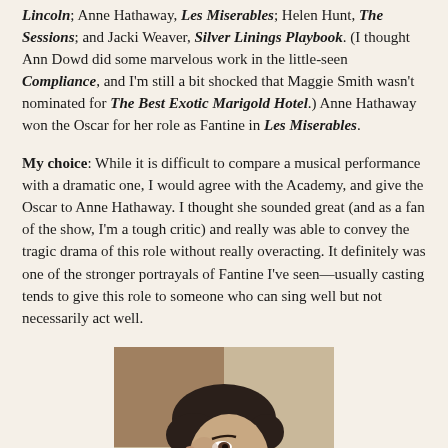Lincoln; Anne Hathaway, Les Miserables; Helen Hunt, The Sessions; and Jacki Weaver, Silver Linings Playbook. (I thought Ann Dowd did some marvelous work in the little-seen Compliance, and I'm still a bit shocked that Maggie Smith wasn't nominated for The Best Exotic Marigold Hotel.) Anne Hathaway won the Oscar for her role as Fantine in Les Miserables.
My choice: While it is difficult to compare a musical performance with a dramatic one, I would agree with the Academy, and give the Oscar to Anne Hathaway. I thought she sounded great (and as a fan of the show, I'm a tough critic) and really was able to convey the tragic drama of this role without really overacting. It definitely was one of the stronger portrayals of Fantine I've seen—usually casting tends to give this role to someone who can sing well but not necessarily act well.
[Figure (photo): A woman with short dark hair looking upward, photographed from a low angle against a warm neutral background.]